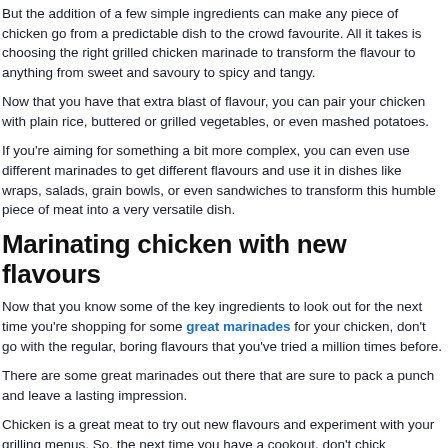But the addition of a few simple ingredients can make any piece of chicken go from a predictable dish to the crowd favourite. All it takes is choosing the right grilled chicken marinade to transform the flavour to anything from sweet and savoury to spicy and tangy.
Now that you have that extra blast of flavour, you can pair your chicken with plain rice, buttered or grilled vegetables, or even mashed potatoes.
If you're aiming for something a bit more complex, you can even use different marinades to get different flavours and use it in dishes like wraps, salads, grain bowls, or even sandwiches to transform this humble piece of meat into a very versatile dish.
Marinating chicken with new flavours
Now that you know some of the key ingredients to look out for the next time you're shopping for some great marinades for your chicken, don't go with the regular, boring flavours that you've tried a million times before.
There are some great marinades out there that are sure to pack a punch and leave a lasting impression.
Chicken is a great meat to try out new flavours and experiment with your grilling menus. So, the next time you have a cookout, don't chick...